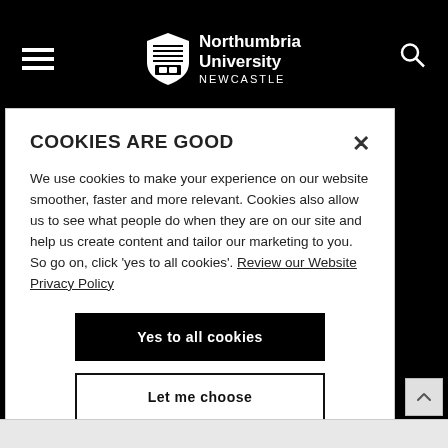Northumbria University NEWCASTLE
COOKIES ARE GOOD
We use cookies to make your experience on our website smoother, faster and more relevant. Cookies also allow us to see what people do when they are on our site and help us create content and tailor our marketing to you. So go on, click 'yes to all cookies'. Review our Website Privacy Policy
Yes to all cookies
Let me choose